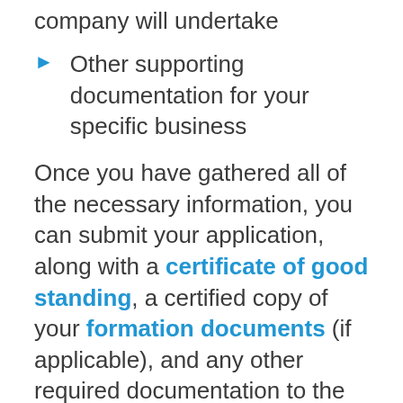company will undertake
Other supporting documentation for your specific business
Once you have gathered all of the necessary information, you can submit your application, along with a certificate of good standing, a certified copy of your formation documents (if applicable), and any other required documentation to the appropriate state agency. You will also need to pay the required state filing fees for foreign entity registration. The amount of time you wait
Start your Foreign Entity Registration →